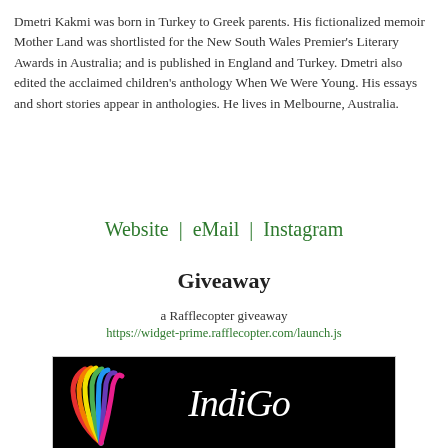Dmetri Kakmi was born in Turkey to Greek parents. His fictionalized memoir Mother Land was shortlisted for the New South Wales Premier's Literary Awards in Australia; and is published in England and Turkey. Dmetri also edited the acclaimed children's anthology When We Were Young. His essays and short stories appear in anthologies. He lives in Melbourne, Australia.
Website | eMail | Instagram
Giveaway
a Rafflecopter giveaway
https://widget-prime.rafflecopter.com/launch.js
[Figure (logo): IndiGo logo on black background with rainbow fan/feather graphic on the left and stylized cursive white text 'IndiGo' on the right]